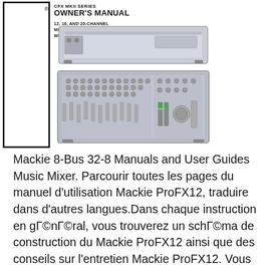[Figure (logo): Mackie logo vertical text rotated 90 degrees on left side]
CFX MKII SERIES OWNER'S MANUAL
12, 16, AND 20-CHANNEL MIC/LINE MIXERS WITH DIGITAL EFFECTS
[Figure (photo): Mackie CFX MKII mixer shown from top/back view and front panel view]
Mackie 8-Bus 32-8 Manuals and User Guides Music Mixer. Parcourir toutes les pages du manuel d'utilisation Mackie ProFX12, traduire dans d'autres langues.Dans chaque instruction en gГ©nГ©ral, vous trouverez un schГ©ma de construction du Mackie ProFX12 ainsi que des conseils sur l'entretien Mackie ProFX12. Vous